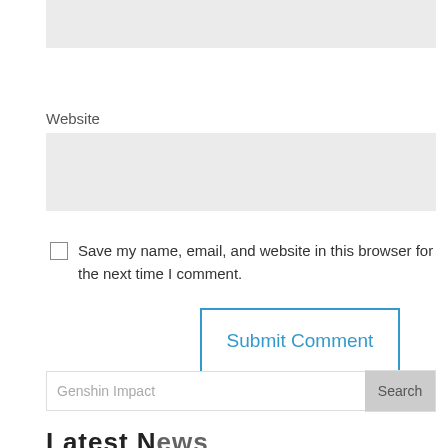[Figure (screenshot): Gray input field (top, partially visible)]
Website
[Figure (screenshot): Gray input field for Website]
Save my name, email, and website in this browser for the next time I comment.
Submit Comment
Genshin Impact
Search
Latest News